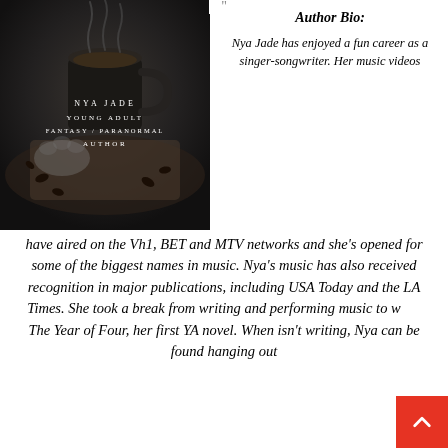[Figure (photo): Dark-toned photo of a coffee mug with steam, cat paw visible, coffee beans scattered, with overlaid text: NYA JADE / YOUNG ADULT / FANTASY / PARANORMAL / AUTHOR in white uppercase letters]
Author Bio:
Nya Jade has enjoyed a fun career as a singer-songwriter. Her music videos have aired on the Vh1, BET and MTV networks and she's opened for some of the biggest names in music. Nya's music has also received recognition in major publications, including USA Today and the LA Times. She took a break from writing and performing music to write The Year of Four, her first YA novel. When isn't writing, Nya can be found hanging out